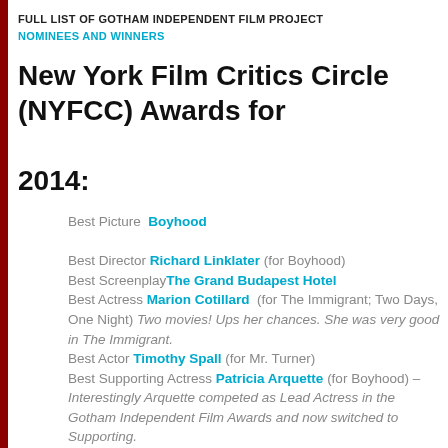FULL LIST OF GOTHAM INDEPENDENT FILM PROJECT NOMINEES AND WINNERS
New York Film Critics Circle (NYFCC) Awards for 2014:
Best Picture Boyhood
Best Director Richard Linklater (for Boyhood)
Best Screenplay The Grand Budapest Hotel
Best Actress Marion Cotillard (for The Immigrant; Two Days, One Night) Two movies! Ups her chances. She was very good in The Immigrant.
Best Actor Timothy Spall (for Mr. Turner)
Best Supporting Actress Patricia Arquette (for Boyhood) – Interestingly Arquette competed as Lead Actress in the Gotham Independent Film Awards and now switched to Supporting.
Best Supporting Actor J.K. Simmons (for Whiplash) – This should propel his beat forward.
Best Cinematographer Darius Khondji (for The Immigrant)